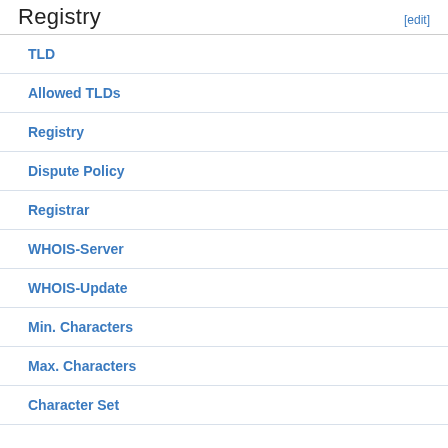Registry
TLD
Allowed TLDs
Registry
Dispute Policy
Registrar
WHOIS-Server
WHOIS-Update
Min. Characters
Max. Characters
Character Set
Limitations